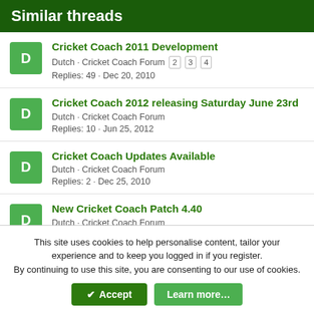Similar threads
Cricket Coach 2011 Development
Dutch · Cricket Coach Forum  2  3  4
Replies: 49 · Dec 20, 2010
Cricket Coach 2012 releasing Saturday June 23rd
Dutch · Cricket Coach Forum
Replies: 10 · Jun 25, 2012
Cricket Coach Updates Available
Dutch · Cricket Coach Forum
Replies: 2 · Dec 25, 2010
New Cricket Coach Patch 4.40
Dutch · Cricket Coach Forum
This site uses cookies to help personalise content, tailor your experience and to keep you logged in if you register.
By continuing to use this site, you are consenting to our use of cookies.